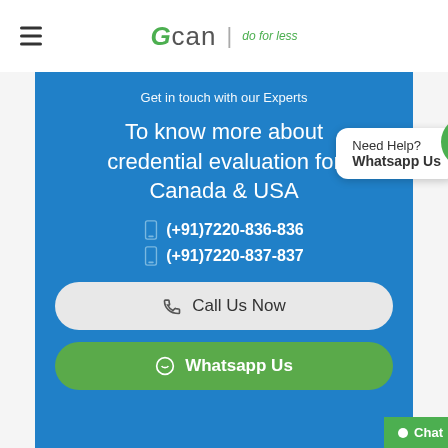Gcan | do for less
Get in touch with our Experts
To know more about credential evaluation for Canada & USA
(+91)7220-836-836
(+91)7220-837-837
Call Us Now
Whatsapp Us
Need Help?
Whatsapp Us